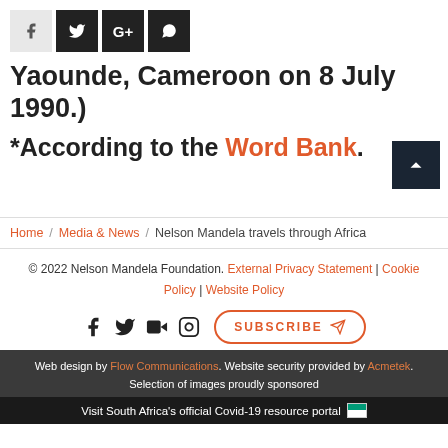[Figure (other): Social share icon buttons: Facebook (light bg), Twitter (dark bg), Google+ (dark bg), WhatsApp (dark bg)]
Yaounde, Cameroon on 8 July 1990.)
*According to the Word Bank.
Home / Media & News / Nelson Mandela travels through Africa
© 2022 Nelson Mandela Foundation. External Privacy Statement | Cookie Policy | Website Policy
[Figure (other): Social media icons: Facebook, Twitter, YouTube, Instagram, and Subscribe button]
Web design by Flow Communications. Website security provided by Acmetek. Selection of images proudly sponsored
Visit South Africa's official Covid-19 resource portal